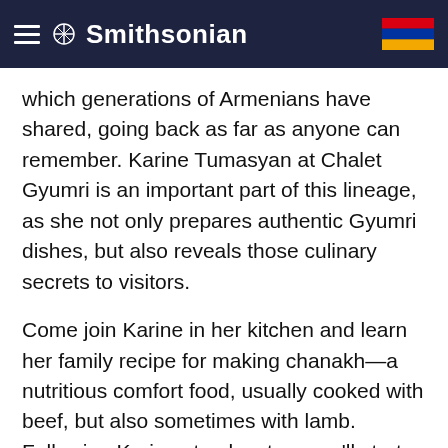Smithsonian
which generations of Armenians have shared, going back as far as anyone can remember. Karine Tumasyan at Chalet Gyumri is an important part of this lineage, as she not only prepares authentic Gyumri dishes, but also reveals those culinary secrets to visitors.
Come join Karine in her kitchen and learn her family recipe for making chanakh—a nutritious comfort food, usually cooked with beef, but also sometimes with lamb. Following Karine step by step, you'll start with a customary clay pot and add the meat. From there, you'll learn about many local organic vegetables—onions, eggplants, tomatoes, green beans, peppers, and